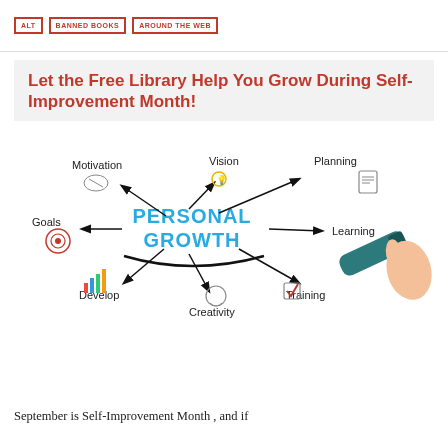ALT | BANNED BOOKS | AROUND THE WEB
Let the Free Library Help You Grow During Self-Improvement Month!
[Figure (infographic): Personal Growth infographic showing a hand writing 'PERSONAL GROWTH' in blue marker text in the center of a diagram, with arrows pointing to: Motivation (with handshake icon), Vision (with lightbulb/gear icon), Planning (with presentation/checklist icon), Learning, Goals (with target/bullseye icon), Develop (with bar chart icon), Creativity (with head/brain icon), Training (with checkbox icon).]
September is Self-Improvement Month , and if